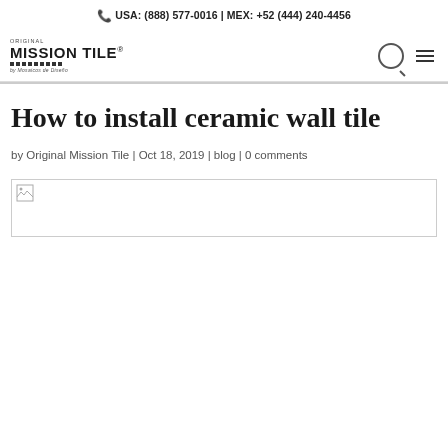USA: (888) 577-0016 | MEX: +52 (444) 240-4456
[Figure (logo): Original Mission Tile logo with dot grid pattern and tagline 'by Mosaicos de Diseño']
How to install ceramic wall tile
by Original Mission Tile | Oct 18, 2019 | blog | 0 comments
[Figure (photo): Broken/unloaded image placeholder for ceramic wall tile installation photo]